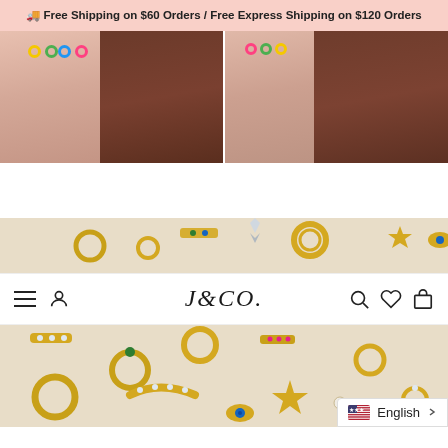🚚 Free Shipping on $60 Orders / Free Express Shipping on $120 Orders
[Figure (photo): Two side-by-side photos of a woman's ear wearing colorful enamel hoop earrings in yellow, green, blue, and pink]
[Figure (photo): Flat lay of gold jewelry charms and hoops with gemstones on a beige background, split by navigation bar]
J&CO.
English